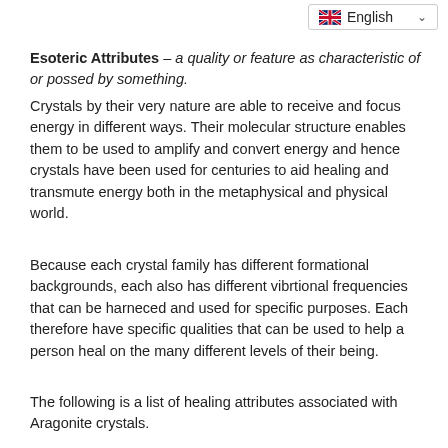English
Esoteric Attributes – a quality or feature as characteristic of or possed by something.
Crystals by their very nature are able to receive and focus energy in different ways. Their molecular structure enables them to be used to amplify and convert energy and hence crystals have been used for centuries to aid healing and transmute energy both in the metaphysical and physical world.
Because each crystal family has different formational backgrounds, each also has different vibrtional frequencies that can be harnесed and used for specific purposes. Each therefore have specific qualities that can be used to help a person heal on the many different levels of their being.
The following is a list of healing attributes associated with Aragonite crystals.